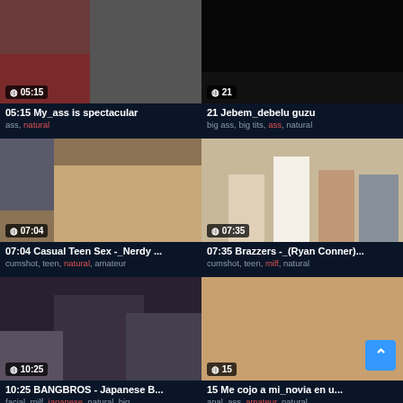[Figure (screenshot): Video thumbnail for '05:15 My_ass is spectacular']
05:15 My_ass is spectacular
ass, natural
[Figure (screenshot): Video thumbnail for '21 Jebem_debelu guzu']
21 Jebem_debelu guzu
big ass, big tits, ass, natural
[Figure (screenshot): Video thumbnail for '07:04 Casual Teen Sex -_Nerdy ...']
07:04 Casual Teen Sex -_Nerdy ...
cumshot, teen, natural, amateur
[Figure (screenshot): Video thumbnail for '07:35 Brazzers -_(Ryan Conner)...']
07:35 Brazzers -_(Ryan Conner)...
cumshot, teen, milf, natural
[Figure (screenshot): Video thumbnail for '10:25 BANGBROS - Japanese B...']
10:25 BANGBROS - Japanese B...
facial, milf, japanese, natural, big...
[Figure (screenshot): Video thumbnail for '15 Me cojo a mi_novia en u...']
15 Me cojo a mi_novia en u...
anal, ass, amateur, natural